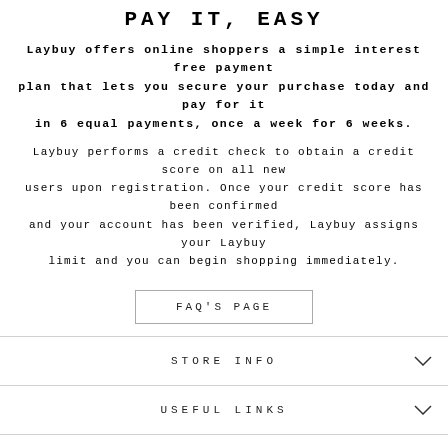PAY IT, EASY
Laybuy offers online shoppers a simple interest free payment plan that lets you secure your purchase today and pay for it in 6 equal payments, once a week for 6 weeks.
Laybuy performs a credit check to obtain a credit score on all new users upon registration. Once your credit score has been confirmed and your account has been verified, Laybuy assigns your Laybuy limit and you can begin shopping immediately.
FAQ'S PAGE
STORE INFO
USEFUL LINKS
GET IN TOUCH